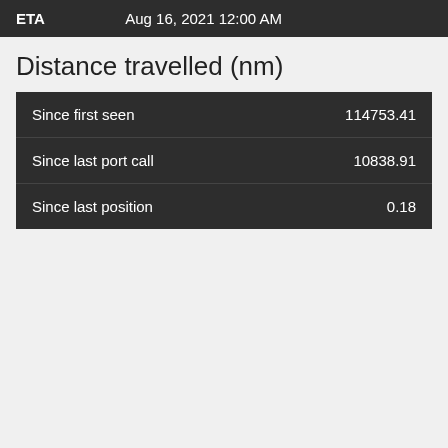|  |  |
| --- | --- |
| ETA | Aug 16, 2021 12:00 AM |
Distance travelled (nm)
| Label | Value |
| --- | --- |
| Since first seen | 114753.41 |
| Since last port call | 10838.91 |
| Since last position | 0.18 |